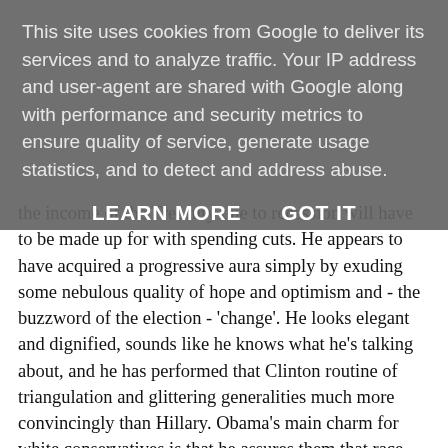This site uses cookies from Google to deliver its services and to analyze traffic. Your IP address and user-agent are shared with Google along with performance and security metrics to ensure quality of service, generate usage statistics, and to detect and address abuse.
LEARN MORE   GOT IT
the income of the Treasury due to recession will have to be made up for with spending cuts. He appears to have acquired a progressive aura simply by exuding some nebulous quality of hope and optimism and - the buzzword of the election - 'change'. He looks elegant and dignified, sounds like he knows what he's talking about, and he has performed that Clinton routine of triangulation and glittering generalities much more convincingly than Hillary. Obama's main charm for white conservatives is that he assures them that race doesn't matter in America - classy guy, they say, not like Jesse Jackson and Al Sharpton. No hysterics. Kind of guy you could have round for dinner and he wouldn't embarrass anyone.
In second place in Iowa was John Edwards. Edwards isn't showing well in New Hampshire polls, but he is by far the most interesting of the three main Democratic candidates. Essentially, the role he has crafted for himself is that of a John Grisham hero, a ferocious